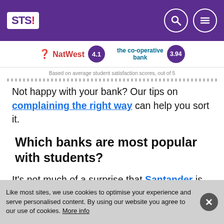STS! [logo] with search and menu icons
[Figure (other): NatWest logo with score 4.1 and The Co-operative bank logo with score 3.94]
Based on average student satisfaction scores, out of 5
Not happy with your bank? Our tips on complaining the right way can help you sort it.
Which banks are most popular with students?
It's not much of a surprise that Santander is the most popular (seeing as it's the best rated).
Nationwide have increased their student account
Like most sites, we use cookies to optimise your experience and serve personalised content. By using our website you agree to our use of cookies. More info